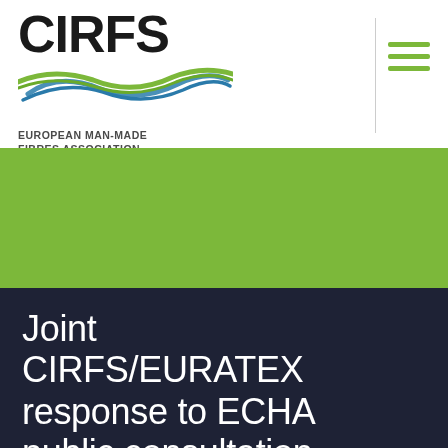[Figure (logo): CIRFS logo with wave graphic and text 'EUROPEAN MAN-MADE FIBRES ASSOCIATION']
[Figure (infographic): Green banner area with search input field]
Joint CIRFS/EURATEX response to ECHA public consultation